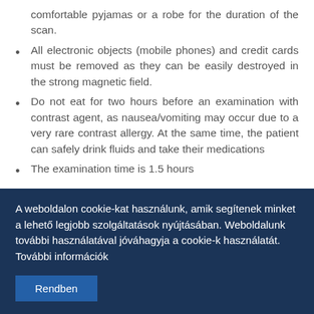comfortable pyjamas or a robe for the duration of the scan.
All electronic objects (mobile phones) and credit cards must be removed as they can be easily destroyed in the strong magnetic field.
Do not eat for two hours before an examination with contrast agent, as nausea/vomiting may occur due to a very rare contrast allergy. At the same time, the patient can safely drink fluids and take their medications
The examination time is 1.5 hours
A weboldalon cookie-kat használunk, amik segítenek minket a lehető legjobb szolgáltatások nyújtásában. Weboldalunk további használatával jóváhagyja a cookie-k használatát. További információk
Rendben